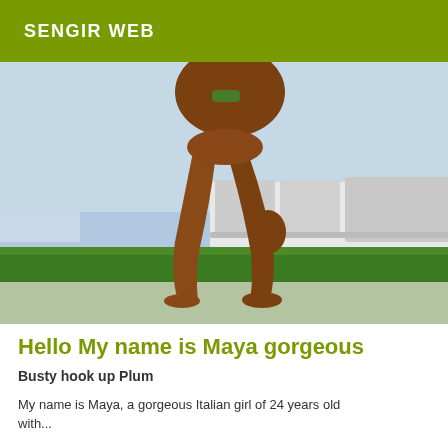SENGIR WEB
[Figure (photo): A person standing outdoors near a white couch/daybed on green artificial grass, with a light blue wall in the background. The photo shows the lower body and legs of a person with dark skin tone.]
Hello My name is Maya gorgeous
Busty hook up Plum
My name is Maya, a gorgeous Italian girl of 24 years old with...